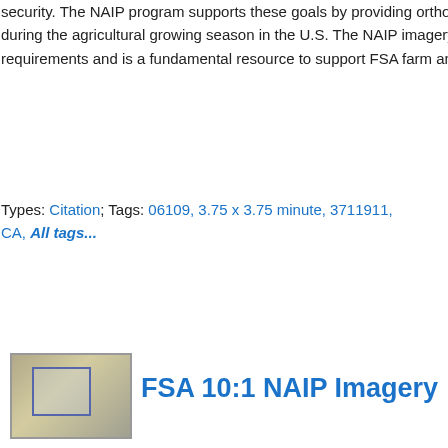security. The NAIP program supports these goals by providing ortho imagery that has been collected during the agricultural growing season in the U.S. The NAIP imagery is tailored to meet FSA requirements and is a fundamental resource to support FSA farm and conservation programs.
Types: Citation; Tags: 06109, 3.75 x 3.75 minute, 3711911, CA, All tags...
[Figure (photo): Thumbnail image of NAIP aerial/satellite imagery showing terrain]
FSA 10:1 NAIP Imagery
m_3711911_se_11_h_20160701_2... x 3.75 minute JPEG2000 from The...
This data set contains imagery from the National Agriculture Imagery Program (NAIP). The NAIP program is administered by USDA FSA and has been established to support USDA's strategic goals centered on agricultural production, to increase stewardship of America's natural resources and enhancing the environment, and to ensure commodities are procured and distributed effectively and efficiently for food security. The NAIP program supports these goals by providing ortho imagery that has been collected during the agricultural growing season in the U.S. The NAIP imagery is tailored to meet FSA requirements and is a fundamental...